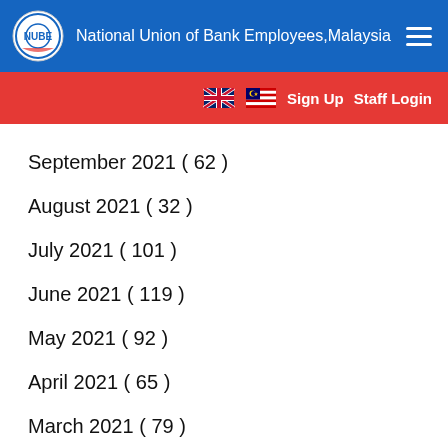National Union of Bank Employees,Malaysia
September 2021 ( 62 )
August 2021 ( 32 )
July 2021 ( 101 )
June 2021 ( 119 )
May 2021 ( 92 )
April 2021 ( 65 )
March 2021 ( 79 )
February 2021 ( 67 )
January 2021 ( 84 )
December 2020 ( 65 )